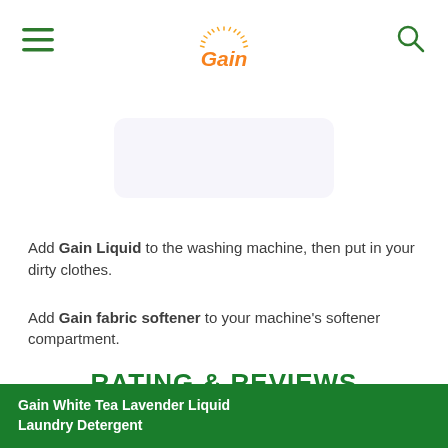Gain logo, hamburger menu, search icon
[Figure (photo): Product image placeholder, light purple/lavender background rectangle]
Add Gain Liquid to the washing machine, then put in your dirty clothes.
Add Gain fabric softener to your machine's softener compartment.
RATING & REVIEWS
★★★★★
Gain White Tea Lavender Liquid Laundry Detergent